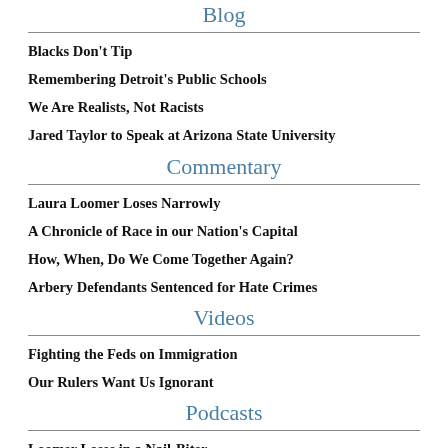Blog
Blacks Don't Tip
Remembering Detroit's Public Schools
We Are Realists, Not Racists
Jared Taylor to Speak at Arizona State University
Commentary
Laura Loomer Loses Narrowly
A Chronicle of Race in our Nation's Capital
How, When, Do We Come Together Again?
Arbery Defendants Sentenced for Hate Crimes
Videos
Fighting the Feds on Immigration
Our Rulers Want Us Ignorant
Podcasts
Loomer Loses in a Nail-Biter